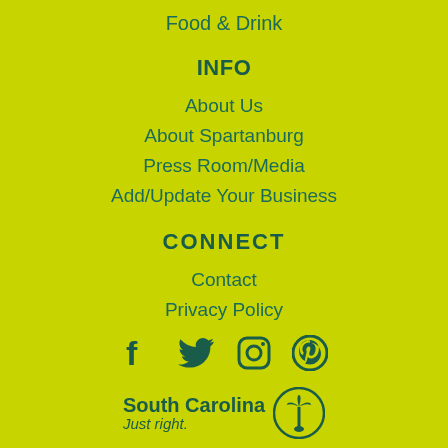Food & Drink
INFO
About Us
About Spartanburg
Press Room/Media
Add/Update Your Business
CONNECT
Contact
Privacy Policy
[Figure (logo): Social media icons: Facebook, Twitter, Instagram, Pinterest]
[Figure (logo): South Carolina Just right. logo with palmetto tree icon]